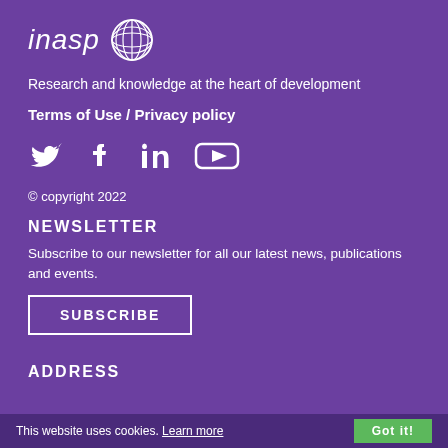[Figure (logo): INASP logo with globe icon and italic text 'inasp']
Research and knowledge at the heart of development
Terms of Use / Privacy policy
[Figure (infographic): Social media icons: Twitter, Facebook, LinkedIn, YouTube]
© copyright 2022
NEWSLETTER
Subscribe to our newsletter for all our latest news, publications and events.
[Figure (other): SUBSCRIBE button with white border]
ADDRESS
This website uses cookies. Learn more  Got it!